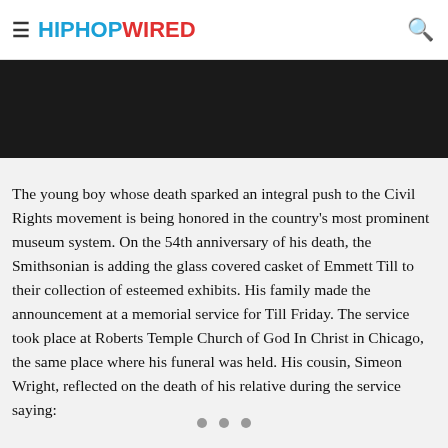HIPHOPWIRED
[Figure (other): Dark banner image area]
The young boy whose death sparked an integral push to the Civil Rights movement is being honored in the country’s most prominent museum system. On the 54th anniversary of his death, the Smithsonian is adding the glass covered casket of Emmett Till to their collection of esteemed exhibits. His family made the announcement at a memorial service for Till Friday. The service took place at Roberts Temple Church of God In Christ in Chicago, the same place where his funeral was held. His cousin, Simeon Wright, reflected on the death of his relative during the service saying: